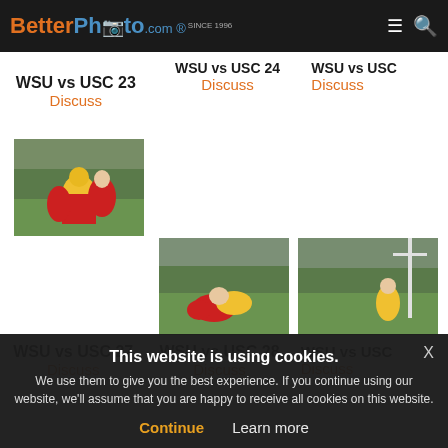BetterPhoto.com
WSU vs USC 23
Discuss
WSU vs USC 24
Discuss
WSU vs USC (partial)
Discuss
[Figure (photo): Football game photo - WSU vs USC 27, player running with ball]
WSU vs USC 27
Discuss
[Figure (photo): Football game photo - WSU vs USC 28, players on ground]
WSU vs USC 28
Discuss
[Figure (photo): Football game photo - WSU vs USC, player near goal post]
WSU vs USC
Discuss
This website is using cookies.
We use them to give you the best experience. If you continue using our website, we'll assume that you are happy to receive all cookies on this website.
Continue
Learn more